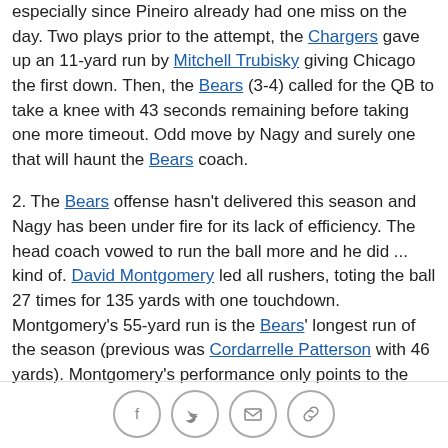especially since Pineiro already had one miss on the day. Two plays prior to the attempt, the Chargers gave up an 11-yard run by Mitchell Trubisky giving Chicago the first down. Then, the Bears (3-4) called for the QB to take a knee with 43 seconds remaining before taking one more timeout. Odd move by Nagy and surely one that will haunt the Bears coach.
2. The Bears offense hasn't delivered this season and Nagy has been under fire for its lack of efficiency. The head coach vowed to run the ball more and he did ... kind of. David Montgomery led all rushers, toting the ball 27 times for 135 yards with one touchdown. Montgomery's 55-yard run is the Bears' longest run of the season (previous was Cordarrelle Patterson with 46 yards). Montgomery's performance only points to the
[Figure (other): Social sharing icons: Facebook, Twitter, Email, Link]